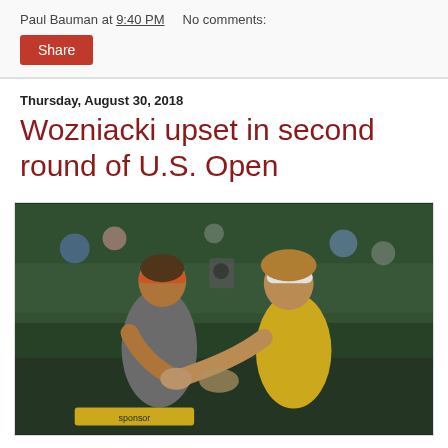Paul Bauman at 9:40 PM   No comments:
Share
Thursday, August 30, 2018
Wozniacki upset in second round of U.S. Open
[Figure (photo): Two female tennis players shaking hands over the net at an indoor tennis court. The player on the left wears a gray outfit and orange headband, the player on the right wears a yellow outfit and white visor.]